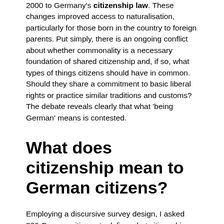2000 to Germany's citizenship law. These changes improved access to naturalisation, particularly for those born in the country to foreign parents. Put simply, there is an ongoing conflict about whether commonality is a necessary foundation of shared citizenship and, if so, what types of things citizens should have in common. Should they share a commitment to basic liberal rights or practice similar traditions and customs? The debate reveals clearly that what 'being German' means is contested.
What does citizenship mean to German citizens?
Employing a discursive survey design, I asked 300 German citizens to define what citizenship meant to them. Participants used 24 statements to construct their own definitions of citizenship. They could decide which statements to use for their definitions, and whether to endorse or reject the statements.